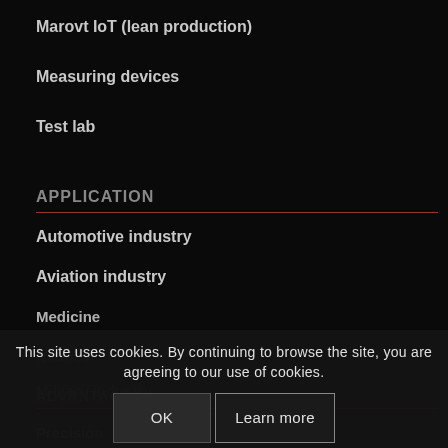Marovt IoT (lean production)
Measuring devices
Test lab
APPLICATION
Automotive industry
Aviation industry
Medicine
Nautics
Military industry
This site uses cookies. By continuing to browse the site, you are agreeing to our use of cookies.
ADVANTAGES
Precision